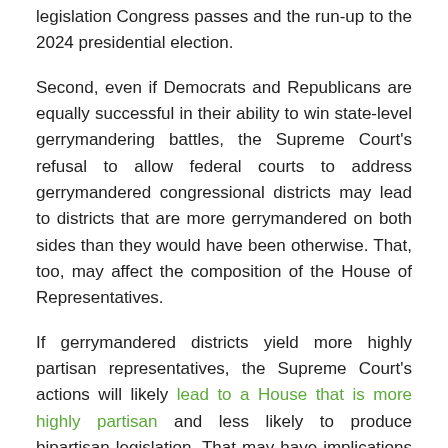legislation Congress passes and the run-up to the 2024 presidential election.
Second, even if Democrats and Republicans are equally successful in their ability to win state-level gerrymandering battles, the Supreme Court's refusal to allow federal courts to address gerrymandered congressional districts may lead to districts that are more gerrymandered on both sides than they would have been otherwise. That, too, may affect the composition of the House of Representatives.
If gerrymandered districts yield more highly partisan representatives, the Supreme Court's actions will likely lead to a House that is more highly partisan and less likely to produce bipartisan legislation. That may have implications for abortion, tax and economic policies and the many other issues Congress may address or fail to address.